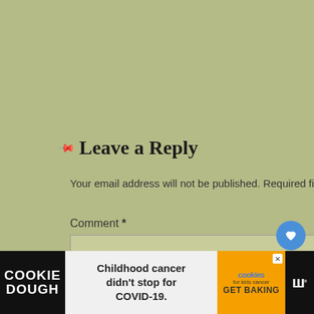Leave a Reply
Your email address will not be published. Required fields are marked *
Comment *
[Figure (screenshot): Comment text area input box]
[Figure (infographic): Social interaction buttons: heart/like button with count 1, and share button]
WHAT'S NEXT → Parasite or Roughage in...
[Figure (infographic): Cookie Dough advertisement banner: Childhood cancer didn't stop for COVID-19. Cookies for kids cancer - GET BAKING]